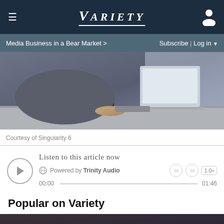≡  VARIETY  👤
Media Business in a Bear Market >   Subscribe | Log in ▼
[Figure (photo): Person working at laptop with coffee cup, close-up of hands on keyboard]
Courtesy of Singularity 6
Listen to this article now
Powered by Trinity Audio
00:00  01:46
Popular on Variety
[Figure (photo): Thumbnail for Olivia Wilde on Directing Harry St...]
Olivia Wilde on Directing Harry St...
Olivia Wilde discusses her upcoming film 'Don't Wor...